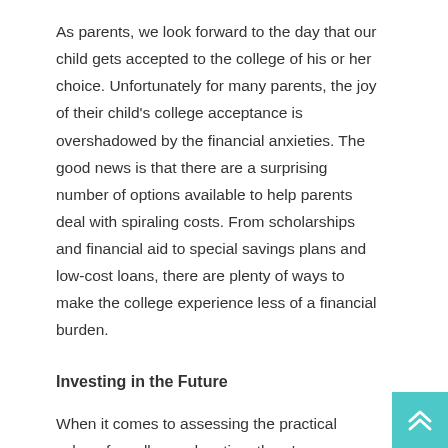As parents, we look forward to the day that our child gets accepted to the college of his or her choice. Unfortunately for many parents, the joy of their child's college acceptance is overshadowed by the financial anxieties. The good news is that there are a surprising number of options available to help parents deal with spiraling costs. From scholarships and financial aid to special savings plans and low-cost loans, there are plenty of ways to make the college experience less of a financial burden.
Investing in the Future
When it comes to assessing the practical value of a college education, there's no arguing with